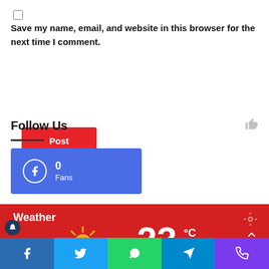Save my name, email, and website in this browser for the next time I comment.
Post Comment
Follow Us
[Figure (infographic): Facebook fans box showing 0 Fans with Facebook icon on blue background]
[Figure (infographic): Weather widget on red background showing sun icon, temperature 23°C with location and chevron icons]
[Figure (infographic): Bottom social sharing bar with Facebook, Twitter, WhatsApp, Telegram, and phone icons in colored sections]